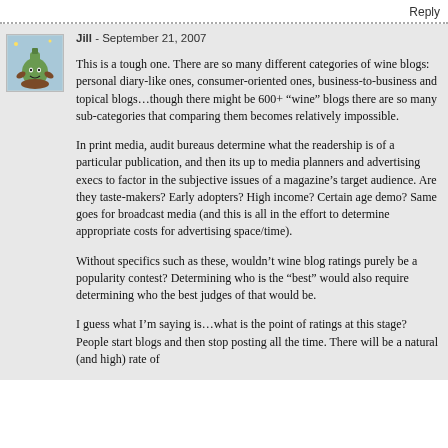Reply
[Figure (illustration): Avatar icon of a cartoon green bottle character with a brown base, on a light blue background]
Jill - September 21, 2007
This is a tough one. There are so many different categories of wine blogs: personal diary-like ones, consumer-oriented ones, business-to-business and topical blogs…though there might be 600+ “wine” blogs there are so many sub-categories that comparing them becomes relatively impossible.
In print media, audit bureaus determine what the readership is of a particular publication, and then its up to media planners and advertising execs to factor in the subjective issues of a magazine’s target audience. Are they taste-makers? Early adopters? High income? Certain age demo? Same goes for broadcast media (and this is all in the effort to determine appropriate costs for advertising space/time).
Without specifics such as these, wouldn’t wine blog ratings purely be a popularity contest? Determining who is the “best” would also require determining who the best judges of that would be.
I guess what I’m saying is…what is the point of ratings at this stage? People start blogs and then stop posting all the time. There will be a natural (and high) rate of